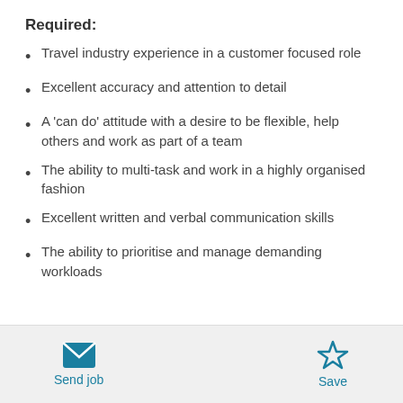Required:
Travel industry experience in a customer focused role
Excellent accuracy and attention to detail
A 'can do' attitude with a desire to be flexible, help others and work as part of a team
The ability to multi-task and work in a highly organised fashion
Excellent written and verbal communication skills
The ability to prioritise and manage demanding workloads
Send job  Save